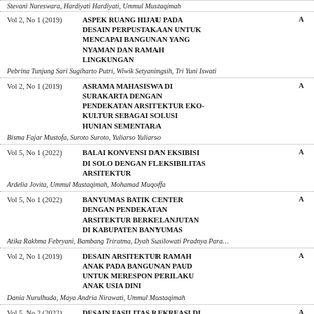Stevani Nureswara, Hardiyati Hardiyati, Ummul Mustaqimah
Vol 2, No 1 (2019) | ASPEK RUANG HIJAU PADA DESAIN PERPUSTAKAAN UNTUK MENCAPAI BANGUNAN YANG NYAMAN DAN RAMAH LINGKUNGAN
Pebrina Tunjung Sari Sugiharto Putri, Wiwik Setyaningsih, Tri Yuni Iswati
Vol 2, No 1 (2019) | ASRAMA MAHASISWA DI SURAKARTA DENGAN PENDEKATAN ARSITEKTUR EKO-KULTUR SEBAGAI SOLUSI HUNIAN SEMENTARA
Bisma Fajar Mustofa, Suroto Suroto, Yuliarso Yuliarso
Vol 5, No 1 (2022) | BALAI KONVENSI DAN EKSIBISI DI SOLO DENGAN FLEKSIBILITAS ARSITEKTUR
Ardelia Jovita, Ummul Mustaqimah, Mohamad Muqoffa
Vol 5, No 1 (2022) | BANYUMAS BATIK CENTER DENGAN PENDEKATAN ARSITEKTUR BERKELANJUTAN DI KABUPATEN BANYUMAS
Atika Rakhma Febryani, Bambang Triratma, Dyah Susilowati Pradnya Para...
Vol 2, No 1 (2019) | DESAIN ARSITEKTUR RAMAH ANAK PADA BANGUNAN PAUD UNTUK MERESPON PERILAKU ANAK USIA DINI
Dania Nurulhuda, Maya Andria Nirawati, Ummul Mustaqimah
Vol 5, No 2 (2022) | DESAIN FASILITAS REKREASI DI WADUK TIRTOMARTO, KARANGANYAR DENGAN PENDEKATAN ARSITEKTUR EKOLOGIS